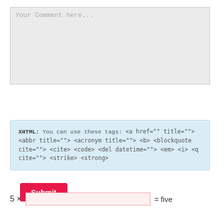Your Comment here...
Submit
XHTML: You can use these tags: <a href="" title=""> <abbr title=""> <acronym title=""> <b> <blockquote cite=""> <cite> <code> <del datetime=""> <em> <i> <q cite=""> <strike> <strong>
5 × [input] = five